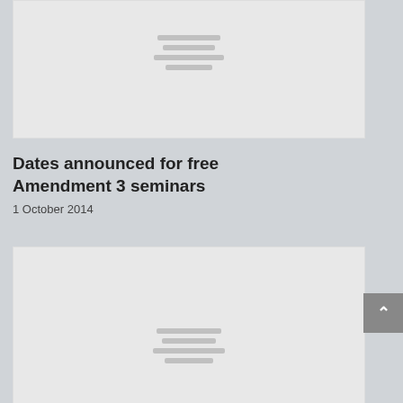[Figure (other): Gray placeholder card image at top of page with faint horizontal lines in center]
Dates announced for free Amendment 3 seminars
1 October 2014
[Figure (other): Gray placeholder card image at bottom of page with faint horizontal lines in center]